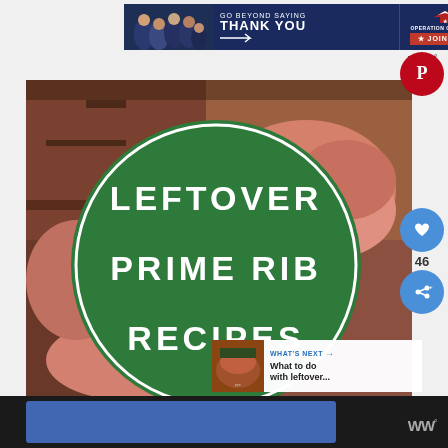[Figure (infographic): Advertisement banner: 'GO BEYOND SAYING THANK YOU' with Operation Gratitude logo and 'JOIN US' button. Military personnel photo on left.]
[Figure (infographic): Main food blog image showing grilled/roasted prime rib meat with a large green circle overlay containing white text: 'LEFTOVER PRIME RIB RECIPES'. Social share buttons (Pinterest, heart/like with count 46, share) on the right edge.]
WHAT'S NEXT → What to do with leftover...
[Figure (screenshot): Bottom dark bar with blue Facebook widget area and W° logo watermark.]